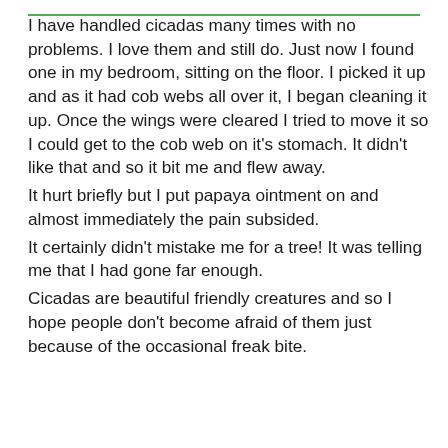I have handled cicadas many times with no problems. I love them and still do. Just now I found one in my bedroom, sitting on the floor. I picked it up and as it had cob webs all over it, I began cleaning it up. Once the wings were cleared I tried to move it so I could get to the cob web on it's stomach. It didn't like that and so it bit me and flew away.
It hurt briefly but I put papaya ointment on and almost immediately the pain subsided.
It certainly didn't mistake me for a tree! It was telling me that I had gone far enough.
Cicadas are beautiful friendly creatures and so I hope people don't become afraid of them just because of the occasional freak bite.